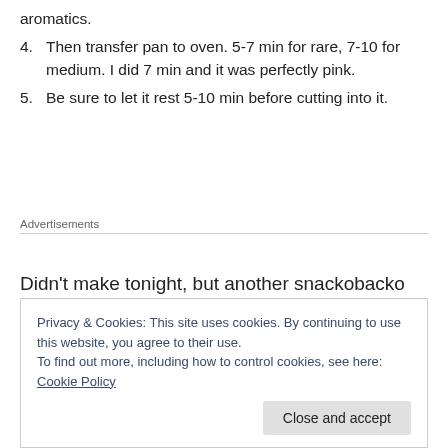aromatics.
4. Then transfer pan to oven. 5-7 min for rare, 7-10 for medium. I did 7 min and it was perfectly pink.
5. Be sure to let it rest 5-10 min before cutting into it.
Advertisements
Didn’t make tonight, but another snackobacko fave trick is after take out of pan, deglaze with some glugs of leftover red wine. Heat on high, until it reduces and thickens
Privacy & Cookies: This site uses cookies. By continuing to use this website, you agree to their use.
To find out more, including how to control cookies, see here: Cookie Policy